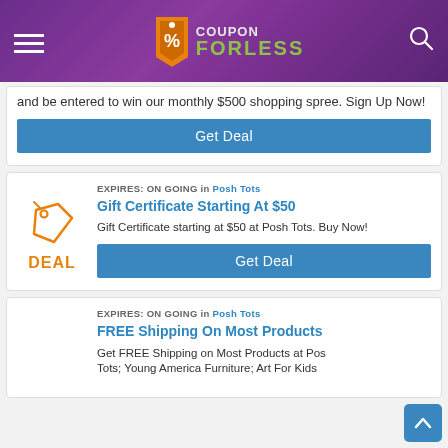COUPON FORLESS
and be entered to win our monthly $500 shopping spree. Sign Up Now!
Get Deal
EXPIRES: ON GOING in Posh Tots
Gift Certificate Starting At $50
Gift Certificate starting at $50 at Posh Tots. Buy Now!
Get Deal
EXPIRES: ON GOING in Posh Tots
FREE Shipping On Most Products
Get FREE Shipping on Most Products at Posh Tots; Young America Furniture; Art For Kids